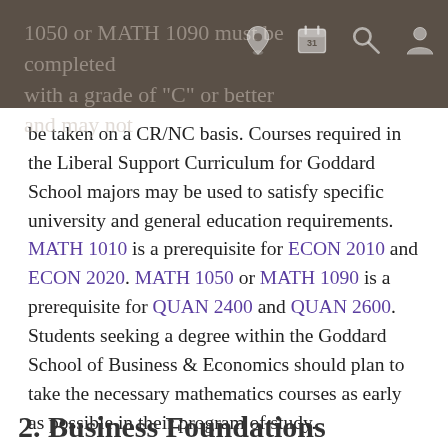1050 or MATH 1090 must be completed with a grade of "C" or better and may not be taken on a CR/NC basis.
be taken on a CR/NC basis. Courses required in the Liberal Support Curriculum for Goddard School majors may be used to satisfy specific university and general education requirements. MATH 1010 is a prerequisite for ECON 2010 and ECON 2020. MATH 1050 or MATH 1090 is a prerequisite for QUAN 2400 and QUAN 2600. Students seeking a degree within the Goddard School of Business & Economics should plan to take the necessary mathematics courses as early as possible in their program of study.
2. Business Foundations